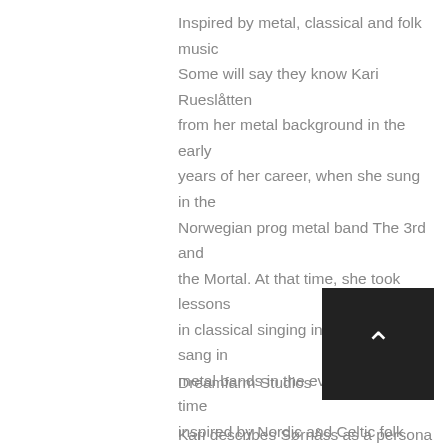Inspired by metal, classical and folk music Some will say they know Kari Rueslåtten from her metal background in the early years of her career, when she sung in the Norwegian prog metal band The 3rd and the Mortal. At that time, she took lessons in classical singing in the daytime, sang in metal bands in the evening – all the time inspired by Nordic and Celtic folk music. Since then she has delivered dark-edged folk-pop to a world-wide audience. Kari Rueslåtten's work with The 3rd and the Mortal is said by Tuomas Holopainen to be the reason why he was inspired to start Nightwish.
Dreamfarm Studios
Kari describes Sørnåss as a personal